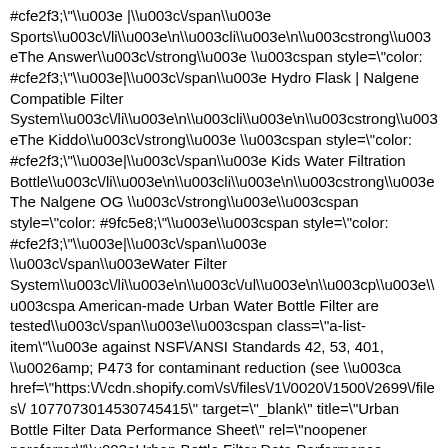#cfe2f3;\"\u003e |\u003c\/span\u003e Sports\u003c\/li\u003e\n\u003cli\u003e\n\u003cstrong\u003eThe Answer\u003c\/strong\u003e \u003cspan style=\"color: #cfe2f3;\"\u003e|\u003c\/span\u003e Hydro Flask | Nalgene Compatible Filter System\u003c\/li\u003e\n\u003cli\u003e\n\u003cstrong\u003eThe Kiddo\u003c\/strong\u003e \u003cspan style=\"color: #cfe2f3;\"\u003e|\u003c\/span\u003e Kids Water Filtration Bottle\u003c\/li\u003e\n\u003cli\u003e\n\u003cstrong\u003eThe Nalgene OG \u003c\/strong\u003e\u003cspan style=\"color: #9fc5e8;\"\u003e\u003cspan style=\"color: #cfe2f3;\"\u003e|\u003c\/span\u003e \u003c\/span\u003eWater Filter System\u003c\/li\u003e\n\u003c\/ul\u003e\n\u003cp\u003e\u003cspa American-made Urban Water Bottle Filter are tested\u003c\/span\u003e\u003cspan class=\"a-list-item\"\u003e against NSF\/ANSI Standards 42, 53, 401, \u0026amp; P473 for contaminant reduction (see \u003ca href=\"https:\/\/cdn.shopify.com\/s\/files\/1\/0020\/1500\/2699\/files\/ 1077073014530745415\" target=\"_blank\" title=\"Urban Bottle Filter Data Performance Sheet\" rel=\"noopener noreferrer\"\u003eUrban Bottle Filter Data Performance Sheet\u003c\/a\u003e for complete results)\u003c\/span\u003e\u003c\/p\u003e\n\u003cp\u003e\u003cspa class=\"a-list-item\"\u003eAdditional Independent